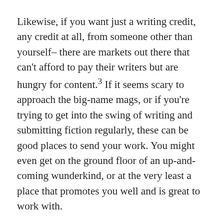Likewise, if you want just a writing credit, any credit at all, from someone other than yourself– there are markets out there that can't afford to pay their writers but are hungry for content.³ If it seems scary to approach the big-name mags, or if you're trying to get into the swing of writing and submitting fiction regularly, these can be good places to send your work. You might even get on the ground floor of an up-and-coming wunderkind, or at the very least a place that promotes you well and is great to work with.
Now, me, I value getting paid at a professional rate, followed by appearing in prestigious markets, followed by getting paid anything. That means that for me, I'm likely to prioritize sending my finished fiction out to the big-name magazines first, though I keep an eye on the smaller zines that don't pay particularly well (or at all), but which have a